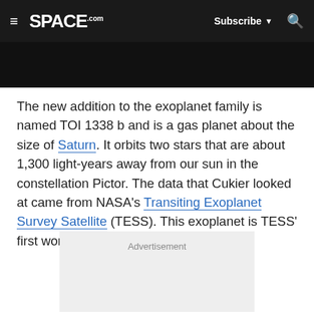≡ SPACE.com  Subscribe ▼ 🔍
[Figure (photo): Dark/black image bar at top of article]
The new addition to the exoplanet family is named TOI 1338 b and is a gas planet about the size of Saturn. It orbits two stars that are about 1,300 light-years away from our sun in the constellation Pictor. The data that Cukier looked at came from NASA's Transiting Exoplanet Survey Satellite (TESS). This exoplanet is TESS' first world that orbits two stars.
Advertisement